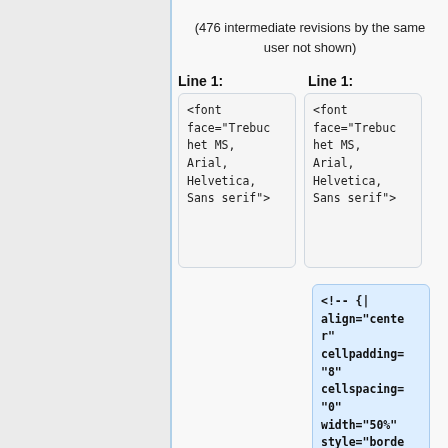(476 intermediate revisions by the same user not shown)
Line 1:
Line 1:
<font face="Trebuchet MS, Arial, Helvetica, Sans serif">
<font face="Trebuchet MS, Arial, Helvetica, Sans serif">
<!-- {|
align="center"
cellpadding="8"
cellspacing="0"
width="50%"
style="borde